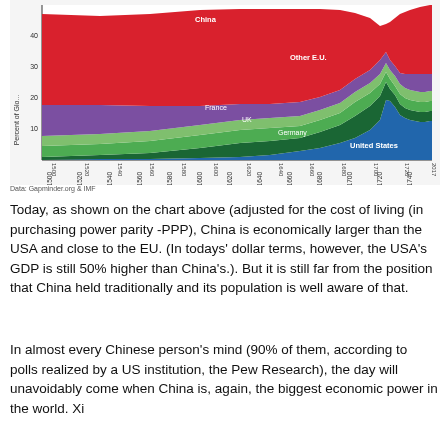[Figure (area-chart): Stacked area chart showing share of global GDP (PPP) from 1500 to 2017 for China (red, top), Other EU (purple), France (olive/dark green), UK (medium green), Germany (dark green), and United States (blue, bottom). China dominates early, declines through 1800-1950, then rises again. US grows through mid-20th century then plateaus.]
Data: Gapminder.org & IMF
Today, as shown on the chart above (adjusted for the cost of living (in purchasing power parity -PPP), China is economically larger than the USA and close to the EU. (In todays' dollar terms, however, the USA's GDP is still 50% higher than China's.). But it is still far from the position that China held traditionally and its population is well aware of that.
In almost every Chinese person's mind (90% of them, according to polls realized by a US institution, the Pew Research), the day will unavoidably come when China is, again, the biggest economic power in the world. Xi